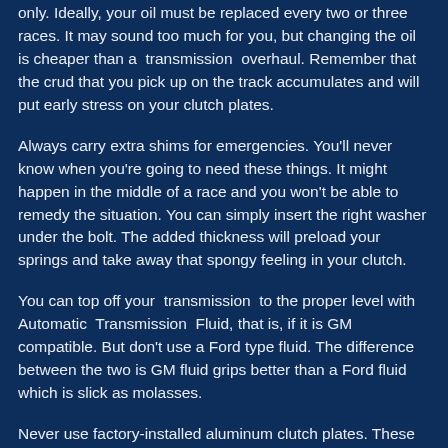only. Ideally, your oil must be replaced every two or three races. It may sound too much for you, but changing the oil is cheaper than a transmission overhaul. Remember that the crud that you pick up on the track accumulates and will put early stress on your clutch plates.
Always carry extra shims for emergencies. You'll never know when you're going to need these things. It might happen in the middle of a race and you won't be able to remedy the situation. You can simply insert the right washer under the bolt. The added thickness will preload your springs and take away that spongy feeling in your clutch.
You can top off your transmission to the proper level with Automatic Transmission Fluid, that is, if it is GM compatible. But don't use a Ford type fluid. The difference between the two is GM fluid grips better than a Ford fluid which is slick as molasses.
Never use factory-installed aluminum clutch plates. These plates are suitable only for regular use but not tough